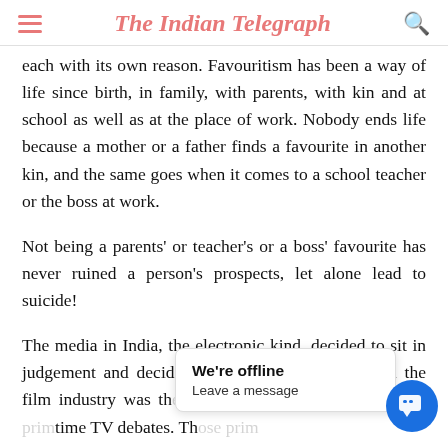The Indian Telegraph
each with its own reason. Favouritism has been a way of life since birth, in family, with parents, with kin and at school as well as at the place of work. Nobody ends life because a mother or a father finds a favourite in another kin, and the same goes when it comes to a school teacher or the boss at work.
Not being a parents' or teacher's or a boss' favourite has never ruined a person's prospects, let alone lead to suicide!
The media in India, the electronic kind, decided to sit in judgement and decided that prevailing nepotism in the film industry was th... T... was driven to it. Th... om... time TV debates. Th... om...